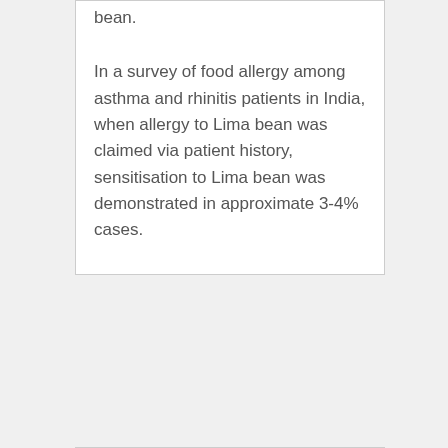bean.
In a survey of food allergy among asthma and rhinitis patients in India, when allergy to Lima bean was claimed via patient history, sensitisation to Lima bean was demonstrated in approximate 3-4% cases.